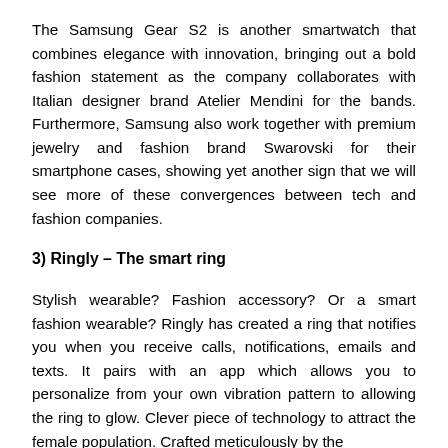The Samsung Gear S2 is another smartwatch that combines elegance with innovation, bringing out a bold fashion statement as the company collaborates with Italian designer brand Atelier Mendini for the bands. Furthermore, Samsung also work together with premium jewelry and fashion brand Swarovski for their smartphone cases, showing yet another sign that we will see more of these convergences between tech and fashion companies.
3) Ringly – The smart ring
Stylish wearable? Fashion accessory? Or a smart fashion wearable? Ringly has created a ring that notifies you when you receive calls, notifications, emails and texts. It pairs with an app which allows you to personalize from your own vibration pattern to allowing the ring to glow. Clever piece of technology to attract the female population. Crafted meticulously by the